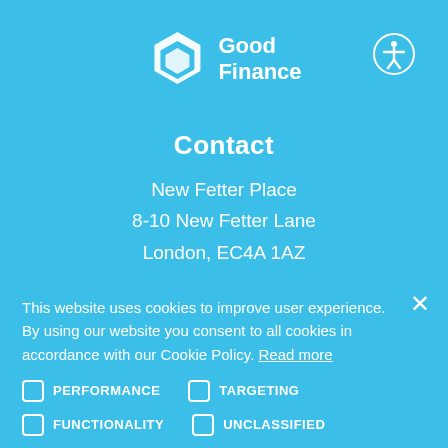[Figure (logo): Good Finance hexagonal logo with text 'Good Finance' in white on blue background]
Contact
New Fetter Place
8-10 New Fetter Lane
London, EC4A 1AZ
This website uses cookies to improve user experience. By using our website you consent to all cookies in accordance with our Cookie Policy. Read more
PERFORMANCE
TARGETING
FUNCTIONALITY
UNCLASSIFIED
ACCEPT ALL
DECLINE ALL